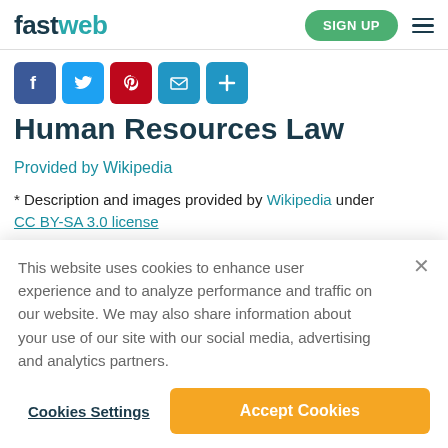fastweb | SIGN UP
[Figure (other): Social sharing icons: Facebook, Twitter, Pinterest, Email, More]
Human Resources Law
Provided by Wikipedia
* Description and images provided by Wikipedia under CC BY-SA 3.0 license
This website uses cookies to enhance user experience and to analyze performance and traffic on our website. We may also share information about your use of our site with our social media, advertising and analytics partners.
Cookies Settings | Accept Cookies